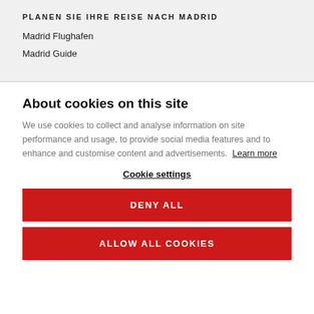PLANEN SIE IHRE REISE NACH MADRID
Madrid Flughafen
Madrid Guide
About cookies on this site
We use cookies to collect and analyse information on site performance and usage, to provide social media features and to enhance and customise content and advertisements. Learn more
Cookie settings
DENY ALL
ALLOW ALL COOKIES